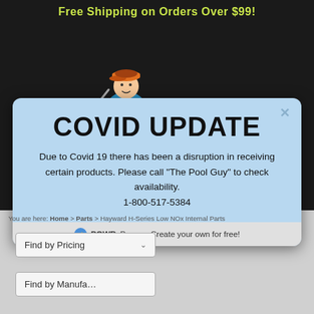Free Shipping on Orders Over $99!
[Figure (illustration): Cartoon illustration of a pool maintenance worker (The Pool Guy) wearing a blue shirt and orange cap, holding a pool cleaning pole]
1 800 517 5384
COVID UPDATE
Due to Covid 19 there has been a disruption in receiving certain products. Please call “The Pool Guy” to check availability.
1-800-517-5384
POWR Popup - Create your own for free!
You are here: Home > Parts > Hayward H-Series Low NOx Internal Parts
Find by Pricing
Find by Manufacturer